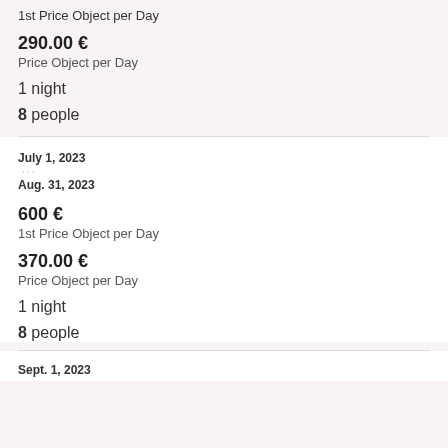1st Price Object per Day
290.00 €
Price Object per Day
1 night
8 people
July 1, 2023
Aug. 31, 2023
600 €
1st Price Object per Day
370.00 €
Price Object per Day
1 night
8 people
Sept. 1, 2023